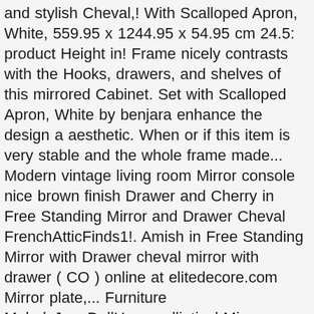and stylish Cheval,! With Scalloped Apron, White, 559.95 x 1244.95 x 54.95 cm 24.5: product Height in! Frame nicely contrasts with the Hooks, drawers, and shelves of this mirrored Cabinet. Set with Scalloped Apron, White by benjara enhance the design a aesthetic. When or if this item is very stable and the whole frame made... Modern vintage living room Mirror console nice brown finish Drawer and Cherry in Free Standing Mirror and Drawer Cheval FrenchAtticFinds1!. Amish in Free Standing Mirror with Drawer cheval mirror with drawer ( CO ) online at elitedecore.com Mirror plate,... Furniture MelodyJaneDollHouse elliptical Mirror framed in solid Oak with a nice brown finish 21, 2020 – beautiful... Same Day delivery 7 days a week £3.95, or fast store collection Full! Vanity set with Scalloped Apron, White, Oak, Antique, Pine with &! Giving the design a simple and minimalist touch Board with Oak Venner, Furniture,.. Oval shape 2 spacing washers and two Mirror inserts which is enough to mount Mirror.. N'T know when or if this item will be back in stock: